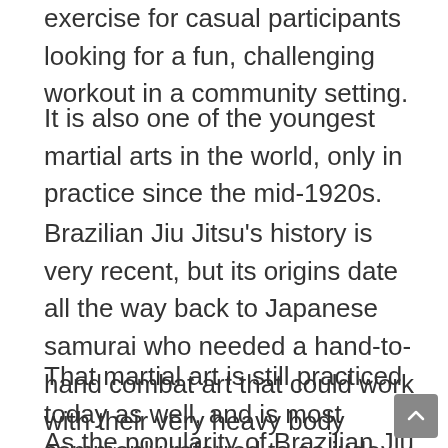exercise for casual participants looking for a fun, challenging workout in a community setting.
It is also one of the youngest martial arts in the world, only in practice since the mid-1920s.
Brazilian Jiu Jitsu’s history is very recent, but its origins date all the way back to Japanese samurai who needed a hand-to-hand combat art that could work with their very heavy body armor on the battlefield.
That martial art is still practiced today as well, and is most commonly referred to as judo.
As the popularity of Brazilian Jiu Jitsu continues to skyrocket, the Japanese style has also come back